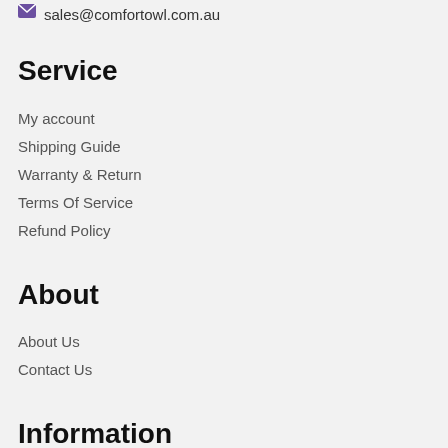sales@comfortowl.com.au
Service
My account
Shipping Guide
Warranty & Return
Terms Of Service
Refund Policy
About
About Us
Contact Us
Information
Privacy Policy